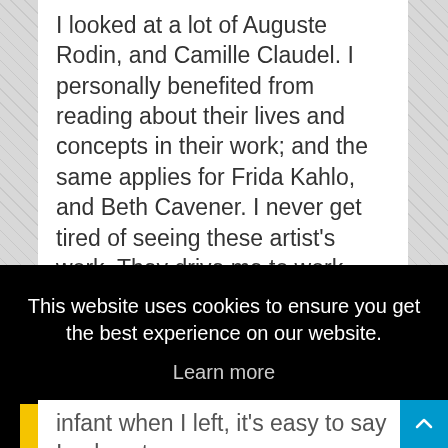I looked at a lot of Auguste Rodin, and Camille Claudel. I personally benefited from reading about their lives and concepts in their work; and the same applies for Frida Kahlo, and Beth Cavener. I never get tired of seeing these artist's work. They drive me to work harder in my own work. I had the opportunity to work for Beth as an intern in her studio off and on while still in Undergrad and later after I had finished my degree. She gave me a lot of great technical and career advice that I still use today.
This website uses cookies to ensure you get the best experience on our website.
Learn more
Got it!
infant when I left, it's easy to say I only set